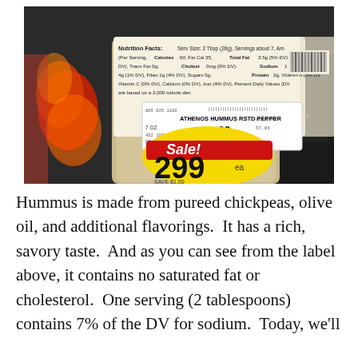[Figure (photo): Photo of Athenos Hummus Roasted Pepper product with nutrition facts label visible at top showing: Serv Size 2 Tbsp (28g), Servings about 7, Per Serving Calories 60, Fat Cal 35, Total Fat 3.5g (5% DV), Sat Fat 0g (0%), Trans Fat 0g, Cholest 0mg (0% DV), Sodium 170mg (7% DV), Total Carb, Fiber 1g (4% DV), Sugars 0g, Protein 2g, Vitamin A (0% DV), Vitamin C (0% DV), Calcium (0% DV), Iron (4% DV), based on a 2,000 calorie diet. Below that is a store price tag showing ATHENOS HUMMUS RSTD PEPPER, 7 OZ, regular price 3.99, and a yellow/red sale sticker showing Sale! 2.99, SAVE $1.00.]
Hummus is made from pureed chickpeas, olive oil, and additional flavorings.  It has a rich, savory taste.  And as you can see from the label above, it contains no saturated fat or cholesterol.  One serving (2 tablespoons) contains 7% of the DV for sodium.  Today, we'll